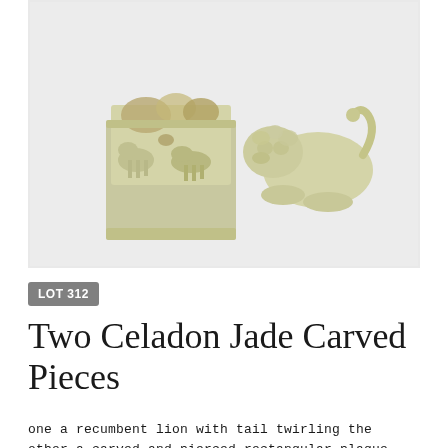[Figure (photo): Two celadon jade carved pieces on white/light grey background. Left piece: a square plaque with carved relief animals (deer/lion figures) and rocky landscape elements. Right piece: a recumbent lion figurine with tail twirling, pale green celadon jade color.]
LOT 312
Two Celadon Jade Carved Pieces
one a recumbent lion with tail twirling the other a carved and pierced rectangular plaque with symbols of longevity the deer